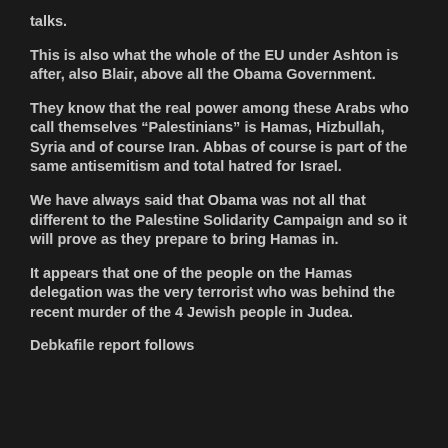talks.
This is also what the whole of the EU under Ashton is after, also Blair, above all the Obama Government.
They know that the real power among these Arabs who call themselves “Palestinians” is Hamas, Hizbullah, Syria and of course Iran. Abbas of course is part of the same antisemitism and total hatred for Israel.
We have always said that Obama was not all that different to the Palestine Solidarity Campaign and so it will prove as they prepare to bring Hamas in.
It appears that one of the people on the Hamas delegation was the very terrorist who was behind the recent murder of the 4 Jewish people in Judea.
Debkafile report follows